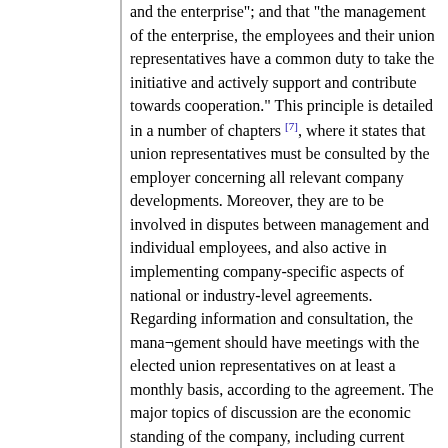and the enterprise"; and that "the management of the enterprise, the employees and their union representatives have a common duty to take the initiative and actively support and contribute towards cooperation." This principle is detailed in a number of chapters [7], where it states that union representatives must be consulted by the employer concerning all relevant company developments. Moreover, they are to be involved in disputes between management and individual employees, and also active in implementing company-specific aspects of national or industry-level agreements. Regarding information and consultation, the mana­gement should have meetings with the elected union representatives on at least a monthly basis, according to the agreement. The major topics of discussion are the economic standing of the company, including current production, pay, working conditions, working environment and current major company activities. Documentation of the financial